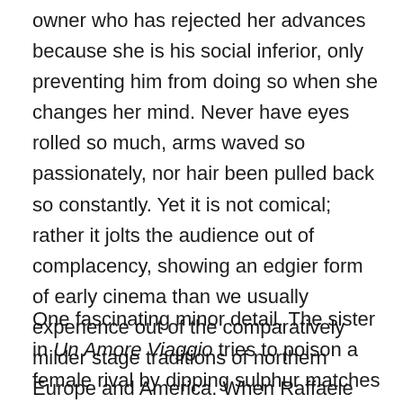owner who has rejected her advances because she is his social inferior, only preventing him from doing so when she changes her mind. Never have eyes rolled so much, arms waved so passionately, nor hair been pulled back so constantly. Yet it is not comical; rather it jolts the audience out of complacency, showing an edgier form of early cinema than we usually experience out of the comparatively milder stage traditions of northern Europe and America. When Raffaele looks like he wants to fight, he sems more than ready to deal in real blows; when Luisella wants you killed, the audience starts worrying for you.
One fascinating minor detail. The sister in Un Amore Viaggio tries to poison a female rival by dipping sulphur matches into her drink. We learn that a Hungarian film